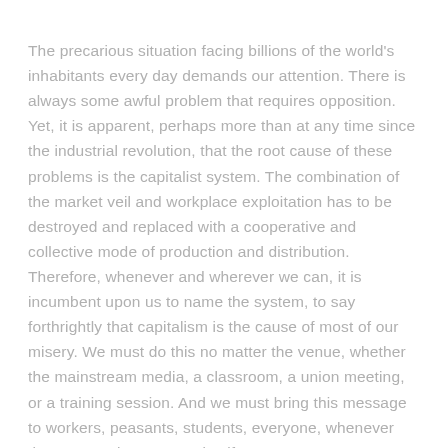The precarious situation facing billions of the world's inhabitants every day demands our attention. There is always some awful problem that requires opposition. Yet, it is apparent, perhaps more than at any time since the industrial revolution, that the root cause of these problems is the capitalist system. The combination of the market veil and workplace exploitation has to be destroyed and replaced with a cooperative and collective mode of production and distribution. Therefore, whenever and wherever we can, it is incumbent upon us to name the system, to say forthrightly that capitalism is the cause of most of our misery. We must do this no matter the venue, whether the mainstream media, a classroom, a union meeting, or a training session. And we must bring this message to workers, peasants, students, everyone, whenever the opportunity presents itself.